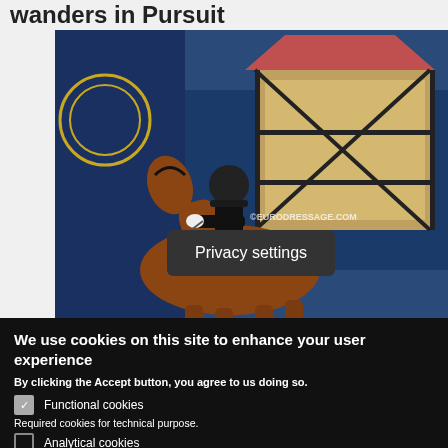wanders in Pursuit
[Figure (photo): Dressage rider on a chestnut horse at a competition venue, wearing black jacket and helmet, with eurodressage.com watermark. Blue background with a half-timbered building visible.]
Privacy settings
We use cookies on this site to enhance your user experience
By clicking the Accept button, you agree to us doing so.
Functional cookies
Required cookies for technical purpose.
Analytical cookies
We use Google Analytics on our website.
Save preferences
Accept all cookies